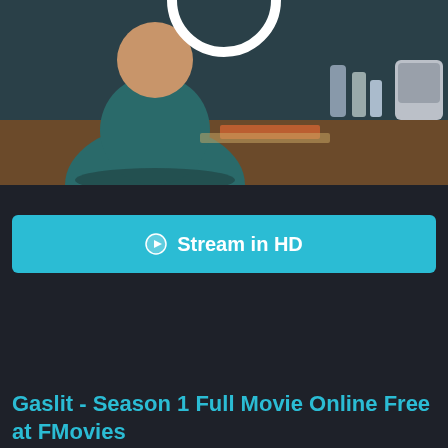[Figure (screenshot): Video thumbnail showing a person sitting at a cluttered dressing room desk with teal/blue tones; a white circular element at the top center]
Stream in HD
Server 1
01  02  03  04  05  06  07  08
Gaslit - Season 1 Full Movie Online Free at FMovies